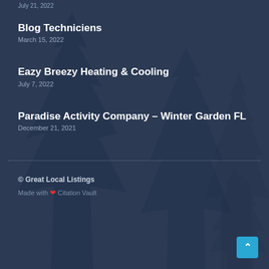July 21, 2022
Blog Techniciens
March 15, 2022
Eazy Breezy Heating & Cooling
July 7, 2022
Paradise Activity Company – Winter Garden FL
December 21, 2021
© Great Local Listings
Made with ❤ Citation Vault